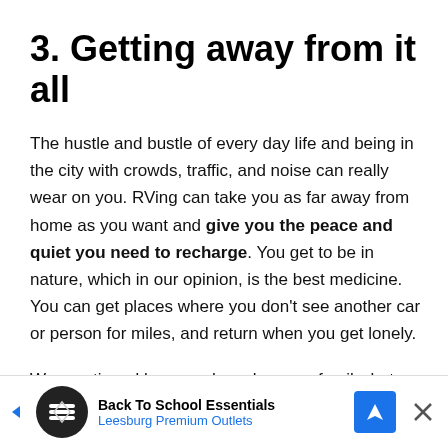3. Getting away from it all
The hustle and bustle of every day life and being in the city with crowds, traffic, and noise can really wear on you. RVing can take you as far away from home as you want and give you the peace and quiet you need to recharge. You get to be in nature, which in our opinion, is the best medicine. You can get places where you don't see another car or person for miles, and return when you get lonely.
We mentioned how much we love our family, but we also love our alone time together. Getting away and
[Figure (advertisement): Advertisement bar at bottom: Back To School Essentials, Leesburg Premium Outlets, with logo icons and navigation arrows]